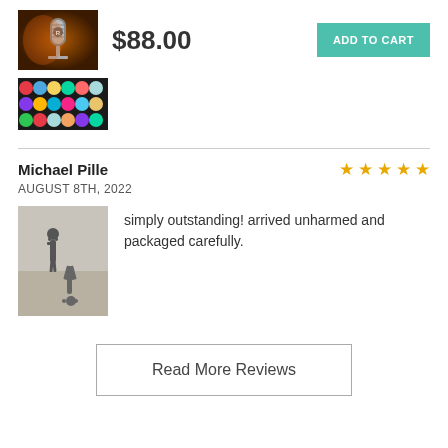[Figure (photo): Product thumbnail - microphone photo]
$88.00
ADD TO CART
[Figure (photo): Colorful circles/dots art product thumbnail]
Michael Pille
AUGUST 8TH, 2022
[Figure (photo): Black and white photo of two people at beach, one doing handstand]
simply outstanding! arrived unharmed and packaged carefully.
Read More Reviews